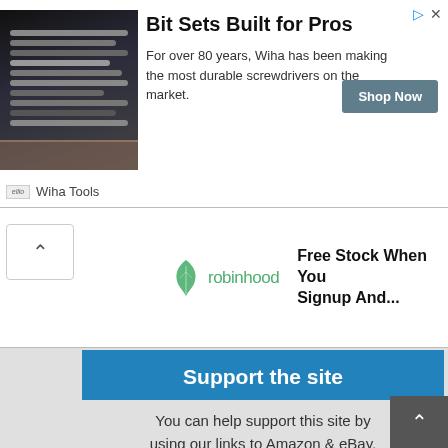[Figure (infographic): Top advertisement banner for Wiha Tools: image of screwdriver bit set on left, headline 'Bit Sets Built for Pros', body text 'For over 80 years, Wiha has been making the most durable screwdrivers on the market.', 'Shop Now' button, and Wiha Tools logo at bottom left.]
[Figure (infographic): Robinhood advertisement with green feather logo and text 'Free Stock When You Signup And...' Scroll-up arrow button visible on left.]
Support the site
You can help support this site by using our links to Amazon & eBay.
[Figure (infographic): Amazon advertisement with tablet devices image, 'SHOP. CONNECT. ENJOY.' orange text, amazon logo with smile, and Privacy link.]
[Figure (infographic): eBay advertisement with eBay logo and 'SHOP NOW' blue button.]